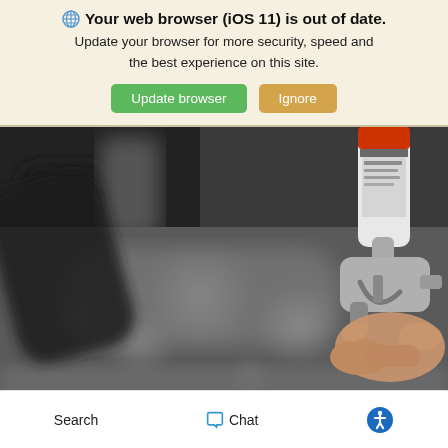🌐 Your web browser (iOS 11) is out of date. Update your browser for more security, speed and the best experience on this site. [Update browser] [Ignore]
[Figure (photo): Close-up photo of a person's hand holding a spray gun/paint gun tool, with a can attached at the top. Background is blurred industrial/workshop setting in grayscale tones.]
Search  Chat  [accessibility icon]